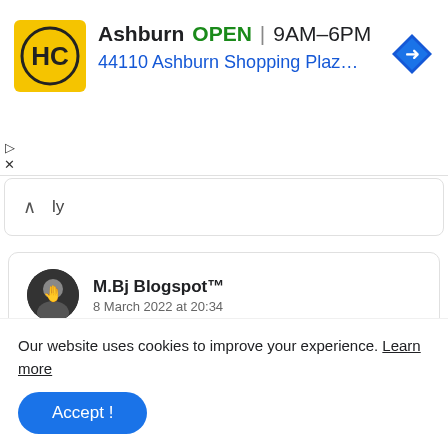[Figure (screenshot): Ad banner for HC store in Ashburn showing logo, OPEN status, hours 9AM-6PM, address, and navigation icon]
Ashburn  OPEN  9AM–6PM
44110 Ashburn Shopping Plaza 190, A...
ᐱ  ly
M.Bj Blogspot™
8 March 2022 at 20:34

I love this 💘

Reply
Our website uses cookies to improve your experience. Learn more
Accept !